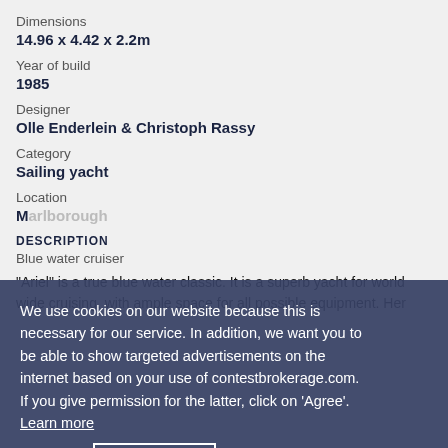Dimensions
14.96 x 4.42 x 2.2m
Year of build
1985
Designer
Olle Enderlein & Christoph Rassy
Category
Sailing yacht
Location
M...
DESCRIPTION
Blue water cruiser
"Ariel" is a true blue water classic. It is a superb yacht for world wide cruising, with ample space for all possible equipment. Her ...
We use cookies on our website because this is necessary for our service. In addition, we want you to be able to show targeted advertisements on the internet based on your use of contestbrokerage.com. If you give permission for the latter, click on 'Agree'.  Learn more
Decline
Agree